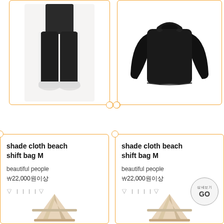[Figure (photo): Black athletic trackpants worn by a model, white sneakers visible at bottom, white stripe down the side]
[Figure (photo): Black long-sleeve fitted top/sweater laid flat on white background]
shade cloth beach shift bag M
beautiful people
₩22,000원이상
▽ ㅣㅣㅣㅣ▽
[Figure (photo): Beige/cream A-frame bag with wooden or bamboo frame shown from bottom]
shade cloth beach shift bag M
beautiful people
₩22,000원이상
▽ ㅣㅣㅣㅣ▽
[Figure (photo): Beige/cream A-frame bag with wooden or bamboo frame shown from bottom]
[Figure (other): GO button circle with Korean label and GO text]